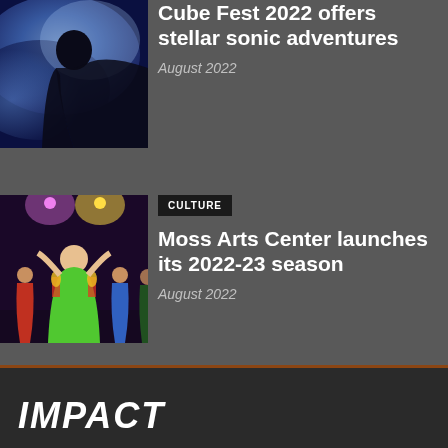Cube Fest 2022 offers stellar sonic adventures
August 2022
[Figure (photo): Person silhouetted against a blue cosmic/nebula background]
CULTURE
Moss Arts Center launches its 2022-23 season
August 2022
[Figure (photo): Performers on stage in colorful floral costumes dancing under stage lights]
IMPACT